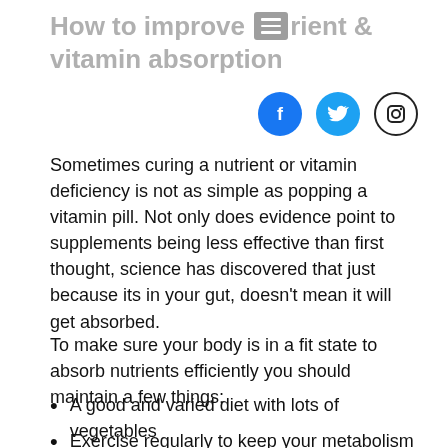How to improve nutrient & vitamin absorption
[Figure (infographic): Social media icons: Facebook (blue circle), Twitter (light blue circle), Instagram (black circle outline)]
Sometimes curing a nutrient or vitamin deficiency is not as simple as popping a vitamin pill. Not only does evidence point to supplements being less effective than first thought, science has discovered that just because its in your gut, doesn’t mean it will get absorbed.
To make sure your body is in a fit state to absorb nutrients efficiently you should maintain a few things;
A good and varied diet with lots of vegetables
Exercise regularly to keep your metabolism going